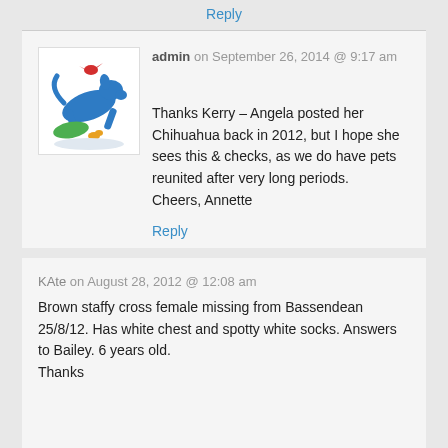Reply
[Figure (illustration): Logo illustration of a blue leaping dog/animal with a red bird above and green and orange shapes below, on white background]
admin on September 26, 2014 @ 9:17 am
Thanks Kerry – Angela posted her Chihuahua back in 2012, but I hope she sees this & checks, as we do have pets reunited after very long periods.
Cheers, Annette
Reply
KAte on August 28, 2012 @ 12:08 am
Brown staffy cross female missing from Bassendean 25/8/12. Has white chest and spotty white socks. Answers to Bailey. 6 years old.
Thanks